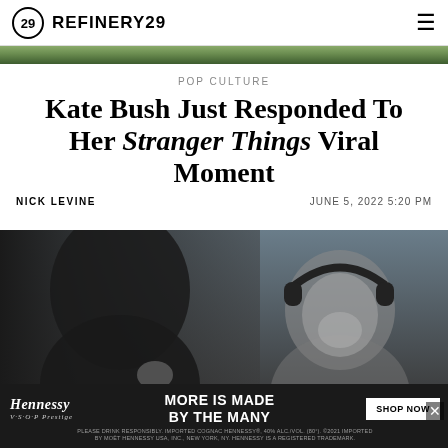REFINERY29
POP CULTURE
Kate Bush Just Responded To Her Stranger Things Viral Moment
NICK LEVINE
JUNE 5, 2022 5:20 PM
[Figure (photo): Black and white photo of two people, one wearing headphones and smiling, with a Hennessy V.S.O.P. advertisement overlay at the bottom reading MORE IS MADE BY THE MANY with a SHOP NOW button]